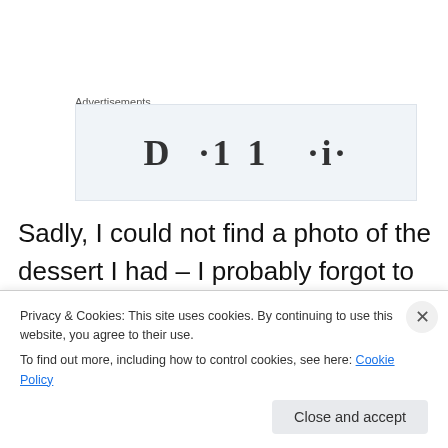Advertisements
[Figure (other): Advertisement placeholder box with partially visible text resembling 'Dribble' or similar branding]
Sadly, I could not find a photo of the dessert I had – I probably forgot to take the photo.  But I still remember very very clearly the dessert that I had – Chocolate
Privacy & Cookies: This site uses cookies. By continuing to use this website, you agree to their use.
To find out more, including how to control cookies, see here: Cookie Policy
Close and accept